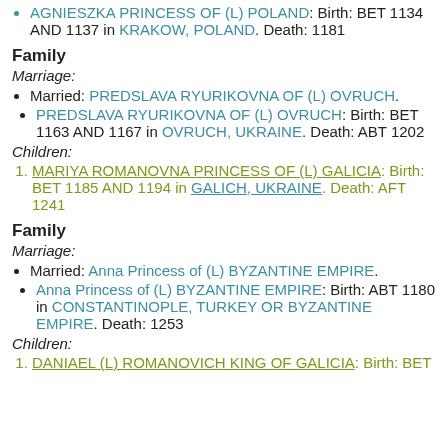AGNIESZKA PRINCESS OF (L) POLAND: Birth: BET 1134 AND 1137 in KRAKOW, POLAND. Death: 1181
Family
Marriage:
Married: PREDSLAVA RYURIKOVNA OF (L) OVRUCH.
PREDSLAVA RYURIKOVNA OF (L) OVRUCH: Birth: BET 1163 AND 1167 in OVRUCH, UKRAINE. Death: ABT 1202
Children:
MARIYA ROMANOVNA PRINCESS OF (L) GALICIA: Birth: BET 1185 AND 1194 in GALICH, UKRAINE. Death: AFT 1241
Family
Marriage:
Married: Anna Princess of (L) BYZANTINE EMPIRE.
Anna Princess of (L) BYZANTINE EMPIRE: Birth: ABT 1180 in CONSTANTINOPLE, TURKEY OR BYZANTINE EMPIRE. Death: 1253
Children:
DANIAEL (L) ROMANOVICH KING OF GALICIA: Birth: BET